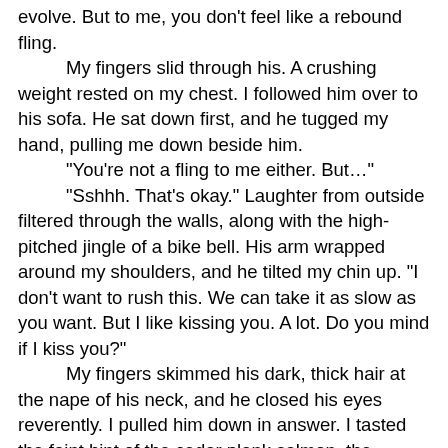evolve. But to me, you don't feel like a rebound fling.

My fingers slid through his. A crushing weight rested on my chest. I followed him over to his sofa. He sat down first, and he tugged my hand, pulling me down beside him.

"You're not a fling to me either. But…"

"Sshhh. That's okay." Laughter from outside filtered through the walls, along with the high-pitched jingle of a bike bell. His arm wrapped around my shoulders, and he tilted my chin up. "I don't want to rush this. We can take it as slow as you want. But I like kissing you. A lot. Do you mind if I kiss you?"

My fingers skimmed his dark, thick hair at the nape of his neck, and he closed his eyes reverently. I pulled him down in answer. I tasted the faint hint of the cedar plank salmon, the chardonnay, and mint. His hands roamed over my dress, and I tugged on his shirt, pulling it out to grant access to the bare skin beneath. He groaned, and we shifted. Side by side on the sofa, his thigh pressed between my legs, and I ground against it. The tension and desire from earlier flamed back, but with a more controlled heat. He lifted my dress higher and higher, exposing me to just below my breasts. The soft touch of the rough pads of his fingers